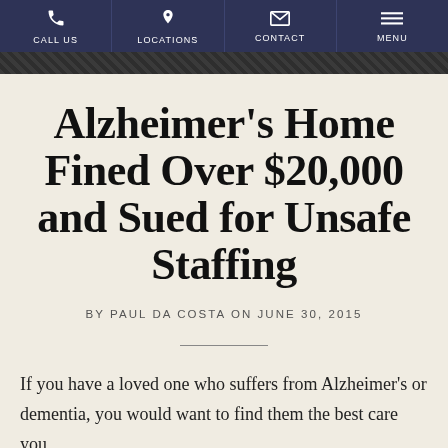CALL US | LOCATIONS | CONTACT | MENU
Alzheimer's Home Fined Over $20,000 and Sued for Unsafe Staffing
BY PAUL DA COSTA ON JUNE 30, 2015
If you have a loved one who suffers from Alzheimer's or dementia, you would want to find them the best care you